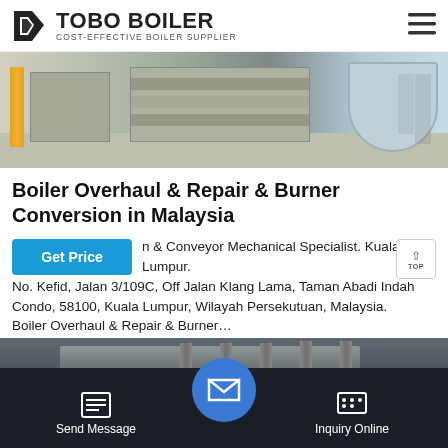TOBO BOILER — COST-EFFECTIVE BOILER SUPPLIER
[Figure (photo): Industrial boiler room with yellow pipe on left, machinery and equipment in center, large cylindrical vessel on right, on concrete floor]
Boiler Overhaul & Repair & Burner Conversion in Malaysia
n & Conveyor Mechanical Specialist. Kuala Lumpur. No. Kefid, Jalan 3/109C, Off Jalan Klang Lama, Taman Abadi Indah Condo, 58100, Kuala Lumpur, Wilayah Persekutuan, Malaysia. Boiler Overhaul & Repair & Burner…
[Figure (photo): Industrial boiler room interior with ductwork and pipes overhead, dark industrial setting]
[Figure (screenshot): WhatsApp contact overlay button in green]
Send Message | Inquiry Online